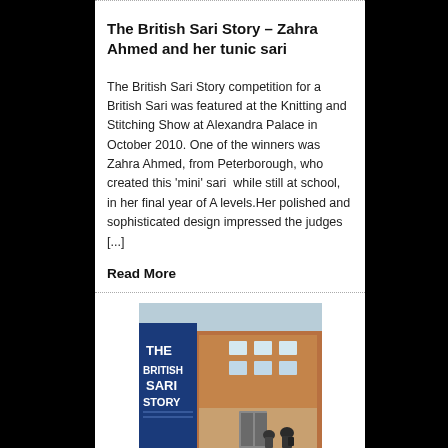The British Sari Story – Zahra Ahmed and her tunic sari
The British Sari Story competition for a British Sari was featured at the Knitting and Stitching Show at Alexandra Palace in October 2010. One of the winners was Zahra Ahmed, from Peterborough, who created this 'mini' sari  while still at school, in her final year of A levels.Her polished and sophisticated design impressed the judges [...]
Read More
[Figure (photo): Exterior photo of a brick building with a large banner reading 'THE BRITISH SARI STORY', with people visible near the entrance.]